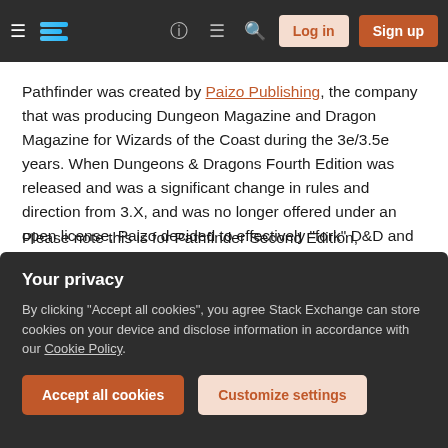Stack Exchange navigation bar with hamburger menu, logo, help, chat, search icons, Log in and Sign up buttons
Pathfinder was created by Paizo Publishing, the company that was producing Dungeon Magazine and Dragon Magazine for Wizards of the Coast during the 3e/3.5e years. When Dungeons & Dragons Fourth Edition was released and was a significant change in rules and direction from 3.X, and was no longer offered under an open license, Paizo decided to effectively "fork" D&D and continue the original direction of the rules - as a result, some people refer to Pathfinder as "D&D v3.75," as it is mostly compatible with the 3.X branch of D&D.
Please note this is for Pathfinder Second Edition...
Your privacy
By clicking "Accept all cookies", you agree Stack Exchange can store cookies on your device and disclose information in accordance with our Cookie Policy.
Accept all cookies
Customize settings